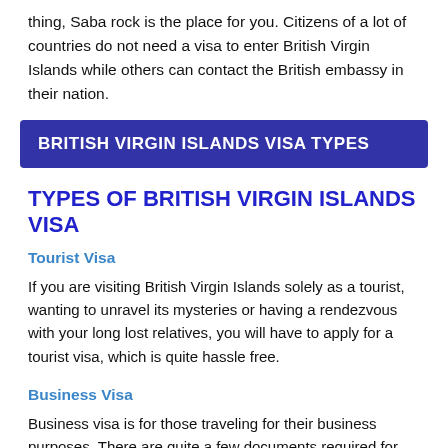thing, Saba rock is the place for you. Citizens of a lot of countries do not need a visa to enter British Virgin Islands while others can contact the British embassy in their nation.
BRITISH VIRGIN ISLANDS VISA TYPES
TYPES OF BRITISH VIRGIN ISLANDS VISA
Tourist Visa
If you are visiting British Virgin Islands solely as a tourist, wanting to unravel its mysteries or having a rendezvous with your long lost relatives, you will have to apply for a tourist visa, which is quite hassle free.
Business Visa
Business visa is for those traveling for their business purposes. There are quite a few documents required for your business visa application so you need to make sure you apply well in advance.
DOCUMENTS REQUIRED FOR BRITISH VIRGIN ISLANDS VISA